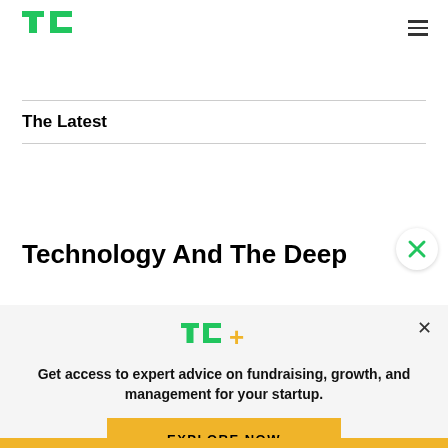[Figure (logo): TechCrunch TC logo in green, top left]
[Figure (other): Hamburger menu icon, top right]
The Latest
Technology And The Deep
[Figure (logo): TC+ logo — TC in green with + in yellow/gold]
Get access to expert advice on fundraising, growth, and management for your startup.
EXPLORE NOW